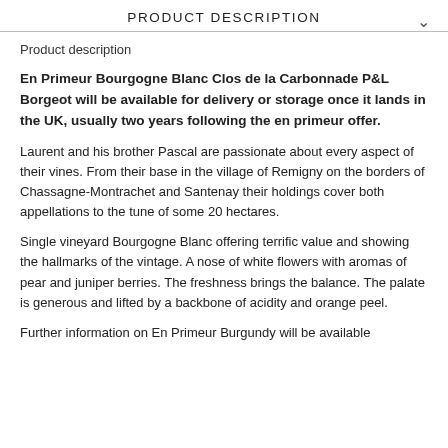PRODUCT DESCRIPTION
Product description
En Primeur Bourgogne Blanc Clos de la Carbonnade P&L Borgeot will be available for delivery or storage once it lands in the UK, usually two years following the en primeur offer.
Laurent and his brother Pascal are passionate about every aspect of their vines. From their base in the village of Remigny on the borders of Chassagne-Montrachet and Santenay their holdings cover both appellations to the tune of some 20 hectares.
Single vineyard Bourgogne Blanc offering terrific value and showing the hallmarks of the vintage. A nose of white flowers with aromas of pear and juniper berries. The freshness brings the balance. The palate is generous and lifted by a backbone of acidity and orange peel.
Further information on En Primeur Burgundy will be available